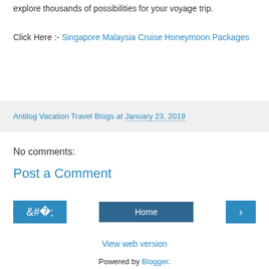explore thousands of possibilities for your voyage trip.
Click Here :- Singapore Malaysia Cruise Honeymoon Packages
Antilog Vacation Travel Blogs at January 23, 2019
No comments:
Post a Comment
Home
View web version
Powered by Blogger.